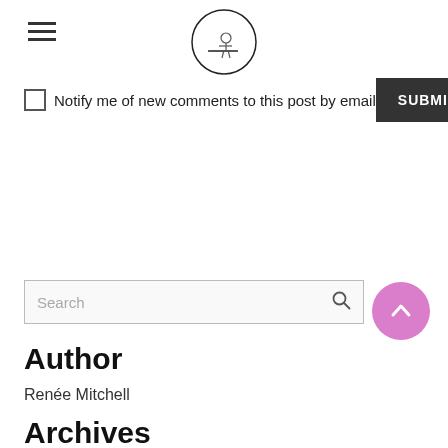[logo: circular illustration of a person at a desk]
Notify me of new comments to this post by email  SUBMIT
[Figure (other): Search input box with magnifying glass icon]
[Figure (other): Pink circular scroll-up arrow button]
Author
Renée Mitchell
Archives